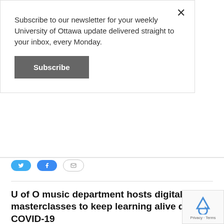Subscribe to our newsletter for your weekly University of Ottawa update delivered straight to your inbox, every Monday.
Subscribe
U of O music department hosts digital masterclasses to keep learning alive during COVID-19
Aly Murphy
2021/02/14, 5:02 pm
Share this:
Tweet
Share 11
Email